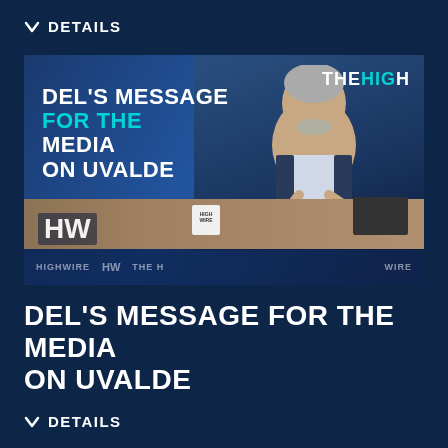∨  DETAILS
[Figure (screenshot): Video thumbnail showing a man in a vest sitting at a desk with a laptop and mug. Text overlay reads: DEL'S MESSAGE FOR THE MEDIA ON UVALDE. HighWire branding visible. THE HIGH logo in top right corner.]
DEL'S MESSAGE FOR THE MEDIA ON UVALDE
∨  DETAILS